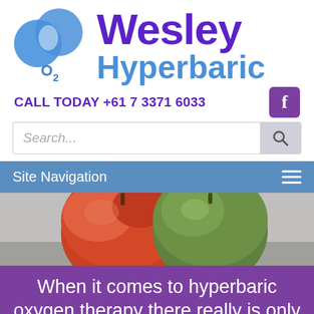[Figure (logo): Wesley Hyperbaric logo with two overlapping blue circles and O2 text, alongside 'Wesley' in purple and 'Hyperbaric' in blue text]
CALL TODAY +61 7 3371 6033
[Figure (logo): Facebook icon in purple square]
[Figure (screenshot): Search bar with placeholder text 'Search...' and search button]
Site Navigation
[Figure (photo): Photo of a red apple and a green apple side by side on a grey surface]
When it comes to hyperbaric oxygen therapy there really is only one choice